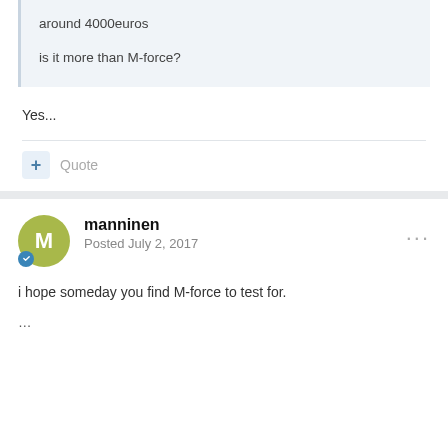around 4000euros

is it more than M-force?
Yes...
Quote
manninen
Posted July 2, 2017
i hope someday you find M-force to test for.
...